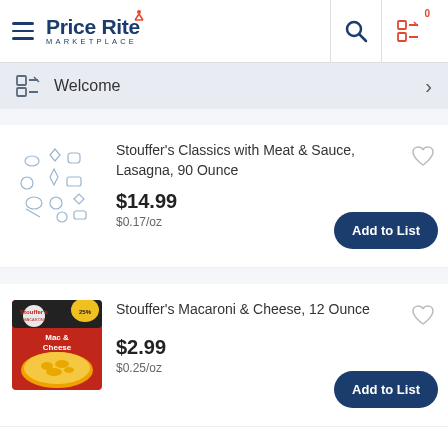Price Rite Marketplace
Welcome
Stouffer's Classics with Meat & Sauce, Lasagna, 90 Ounce
$14.99
$0.17/oz
Stouffer's Macaroni & Cheese, 12 Ounce
$2.99
$0.25/oz